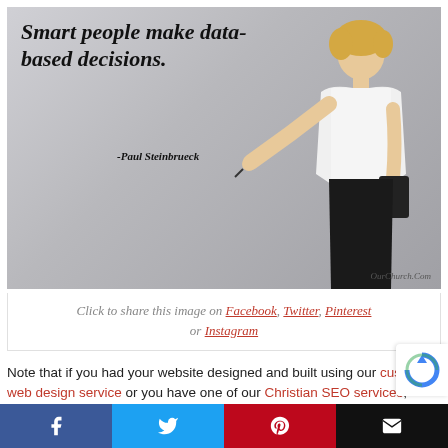[Figure (photo): A woman in a white blouse with a yellow bow tie, holding a tablet and pointing at text on a wall. The text reads: 'Smart people make data-based decisions. -Paul Steinbrueck'. Watermark: OurChurch.Com]
Click to share this image on Facebook, Twitter, Pinterest or Instagram
Note that if you had your website designed and built using our custom web design service or you have one of our Christian SEO services, we already setup your website